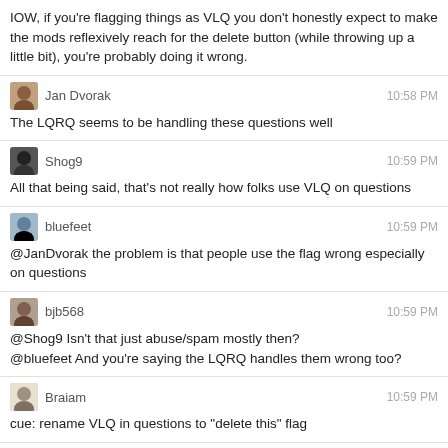IOW, if you're flagging things as VLQ you don't honestly expect to make the mods reflexively reach for the delete button (while throwing up a little bit), you're probably doing it wrong.
Jan Dvorak  10:58 PM
The LQRQ seems to be handling these questions well
Shog9  10:59 PM
All that being said, that's not really how folks use VLQ on questions
bluefeet  10:59 PM
@JanDvorak the problem is that people use the flag wrong especially on questions
bjb568  10:59 PM
@Shog9 Isn't that just abuse/spam mostly then?
@bluefeet And you're saying the LQRQ handles them wrong too?
Braiam  10:59 PM
cue: rename VLQ in questions to "delete this" flag
Shog9  10:59 PM
Which means one of two things should happen:
1) remove it entirely (but lose the signal)
2) do something else with the signal (don't put it in front of moderators)
0 - 3h
3 - 5h
5 - 8h
8 - 10h
10 - 12h
12 - 15h
15 - 17h
17 - 21h